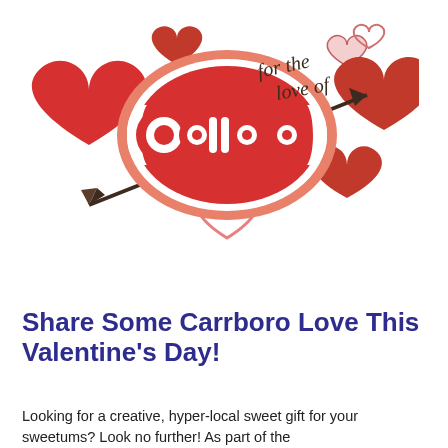[Figure (logo): For the Love of Carrboro Valentine's Day logo with red hearts and an arrow, cursive text reading 'for the love of' and stylized 'Carrboro' lettering in red and white.]
Share Some Carrboro Love This Valentine's Day!
Looking for a creative, hyper-local sweet gift for your sweetums? Look no further! As part of the